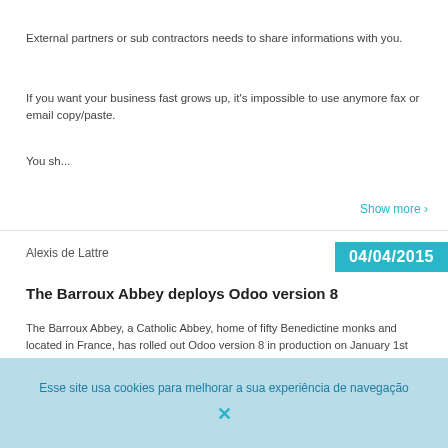External partners or sub contractors needs to share informations with you.
If you want your business fast grows up, it's impossible to use anymore fax or email copy/paste.
You sh...
Show more ›
Alexis de Lattre
04/04/2015
The Barroux Abbey deploys Odoo version 8
The Barroux Abbey, a Catholic Abbey, home of fifty Benedictine monks and located in France, has rolled out Odoo version 8 in production on January 1st 2015 with Akretion.
Show more ›
David Beal
05/13/2014
Pricelist Builder module
Esse site usa cookies para melhorar a sua experiência de navegação